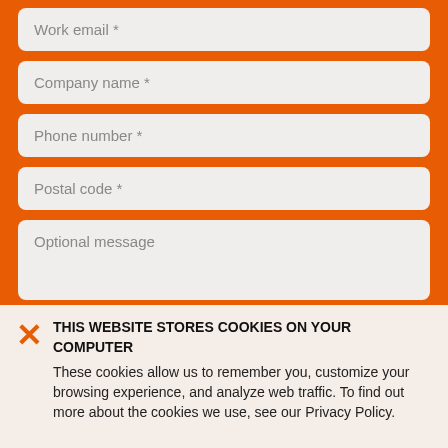Work email *
Company name *
Phone number *
Postal code *
Optional message
THIS WEBSITE STORES COOKIES ON YOUR COMPUTER
These cookies allow us to remember you, customize your browsing experience, and analyze web traffic. To find out more about the cookies we use, see our Privacy Policy.